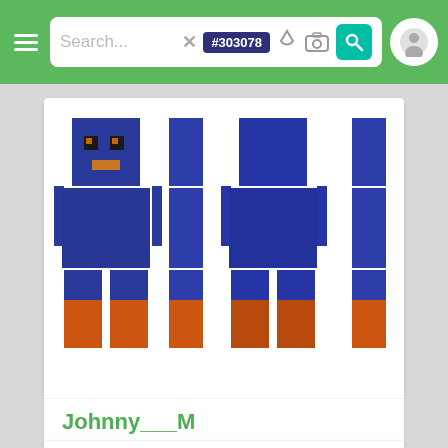Search... #303078 [navigation bar with search, color filter, and profile icons]
[Figure (screenshot): Minecraft character skin shown from four angles (front, side, back, side). The skin depicts a blue bird-like character with orange eyes/beak detail and orange/brown lower legs. The four views are arranged horizontally.]
Johnny___M
64x32   👁 147   ⬇ 16